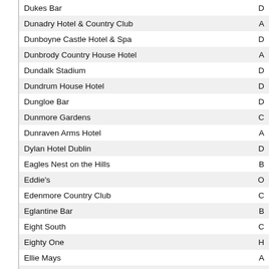| Name | Category |
| --- | --- |
| Dukes Bar | D |
| Dunadry Hotel & Country Club | A |
| Dunboyne Castle Hotel & Spa | D |
| Dunbrody Country House Hotel | A |
| Dundalk Stadium | D |
| Dundrum House Hotel | D |
| Dungloe Bar | D |
| Dunmore Gardens | C |
| Dunraven Arms Hotel | A |
| Dylan Hotel Dublin | D |
| Eagles Nest on the Hills | B |
| Eddie's | O |
| Edenmore Country Club | C |
| Eglantine Bar | B |
| Eight South | C |
| Eighty One | H |
| Ellie Mays | A |
| Embers Coffee House & Grill Bar | A |